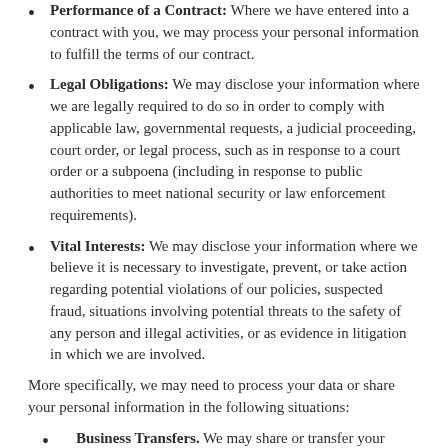Performance of a Contract: Where we have entered into a contract with you, we may process your personal information to fulfill the terms of our contract.
Legal Obligations: We may disclose your information where we are legally required to do so in order to comply with applicable law, governmental requests, a judicial proceeding, court order, or legal process, such as in response to a court order or a subpoena (including in response to public authorities to meet national security or law enforcement requirements).
Vital Interests: We may disclose your information where we believe it is necessary to investigate, prevent, or take action regarding potential violations of our policies, suspected fraud, situations involving potential threats to the safety of any person and illegal activities, or as evidence in litigation in which we are involved.
More specifically, we may need to process your data or share your personal information in the following situations:
Business Transfers. We may share or transfer your